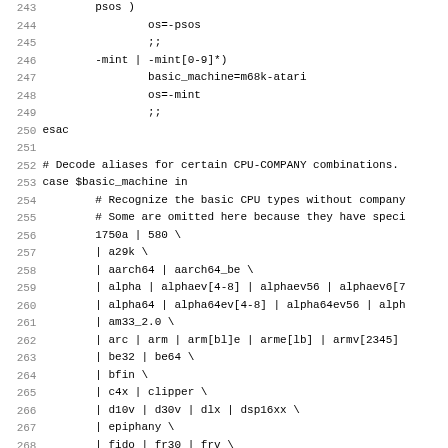Shell script source code listing lines 243-275 showing CPU type aliases decoding logic